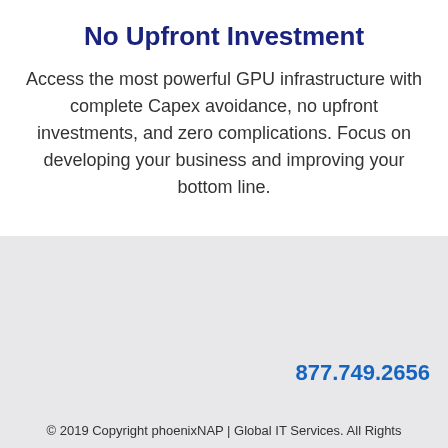No Upfront Investment
Access the most powerful GPU infrastructure with complete Capex avoidance, no upfront investments, and zero complications. Focus on developing your business and improving your bottom line.
877.749.2656
© 2019 Copyright phoenixNAP | Global IT Services. All Rights